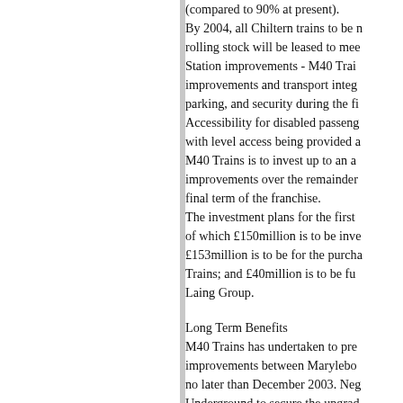(compared to 90% at present). By 2004, all Chiltern trains to be n rolling stock will be leased to mee Station improvements - M40 Trai improvements and transport integ parking, and security during the fi Accessibility for disabled passeng with level access being provided a M40 Trains is to invest up to an a improvements over the remainder final term of the franchise. The investment plans for the first of which £150million is to be inve £153million is to be for the purch Trains; and £40million is to be fu Laing Group.
Long Term Benefits
M40 Trains has undertaken to pre improvements between Marylebo no later than December 2003. Neg Underground to secure the upgrad